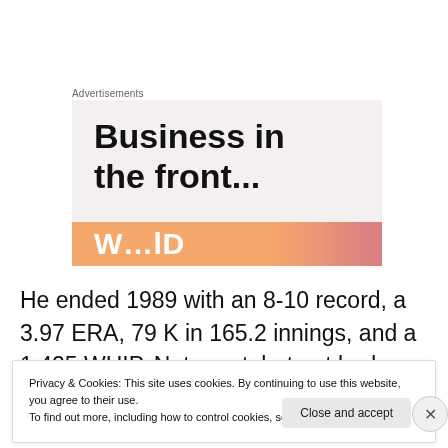Advertisements
[Figure (illustration): Advertisement box with large bold text 'Business in the front...' on a light beige background, with an orange-to-pink gradient banner at the bottom showing partial text 'W...lD']
He ended 1989 with an 8-10 record, a 3.97 ERA, 79 K in 165.2 innings, and a 1.425 WHIP. Not great, but not bad.
Privacy & Cookies: This site uses cookies. By continuing to use this website, you agree to their use.
To find out more, including how to control cookies, see here: Cookie Policy